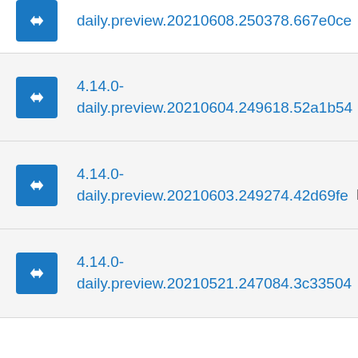daily.preview.20210608.250378.667e0ce KB
4.14.0-daily.preview.20210604.249618.52a1b54 67 KB
4.14.0-daily.preview.20210603.249274.42d69fe 67 KB
4.14.0-daily.preview.20210521.247084.3c33504 67 KB